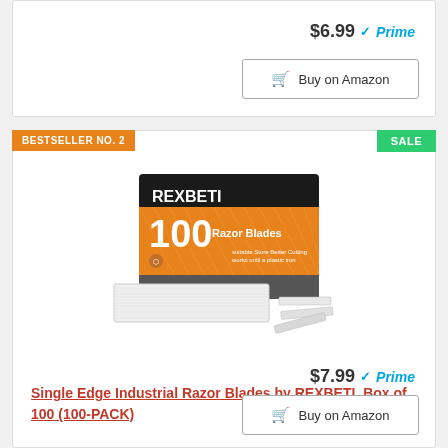$6.99 Prime
🛒 Buy on Amazon
BESTSELLER NO. 2
SALE
[Figure (photo): REXBETI box of 100 Razor Blades product photo with blades displayed in front]
Single Edge Industrial Razor Blades by REXBETI, Box of 100 (100-PACK)
$7.99 Prime
🛒 Buy on Amazon